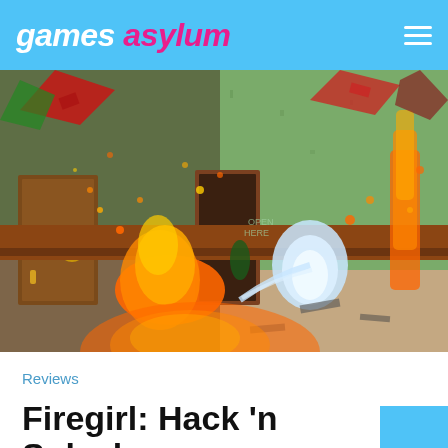games asylum
[Figure (screenshot): Screenshot from Firegirl: Hack n Splash game showing a first-person view of a burning room with green walls, fire explosions, debris falling from the ceiling, a door on the left, and a character spraying water at fires in the distance.]
Reviews
Firegirl: Hack 'n Splash